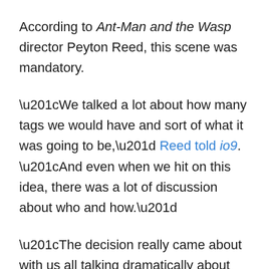According to Ant-Man and the Wasp director Peyton Reed, this scene was mandatory.
“We talked a lot about how many tags we would have and sort of what it was going to be,” Reed told io9. “And even when we hit on this idea, there was a lot of discussion about who and how.”
“The decision really came about with us all talking dramatically about the characters in our movie,” Reed continued. “We liked the idea of what we did with Scott but then it became a thing of ‘Who else is going to be in that scene?’